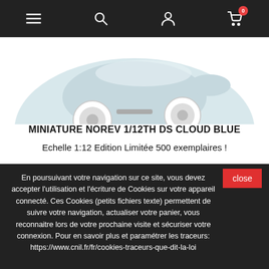Navigation bar with menu, search, account, and cart (0 items) icons
[Figure (photo): Partial top view of a light blue Citroën DS miniature model car on white background]
MINIATURE NOREV 1/12TH DS CLOUD BLUE
Echelle 1:12 Edition Limitée 500 exemplaires !
€124.17
Add to cart
En poursuivant votre navigation sur ce site, vous devez accepter l'utilisation et l'écriture de Cookies sur votre appareil connecté. Ces Cookies (petits fichiers texte) permettent de suivre votre navigation, actualiser votre panier, vous reconnaitre lors de votre prochaine visite et sécuriser votre connexion. Pour en savoir plus et paramétrer les traceurs: https://www.cnil.fr/fr/cookies-traceurs-que-dit-la-loi